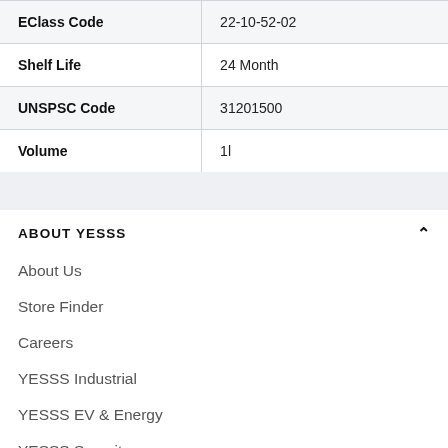| Property | Value |
| --- | --- |
| EClass Code | 22-10-52-02 |
| Shelf Life | 24 Month |
| UNSPSC Code | 31201500 |
| Volume | 1l |
ABOUT YESSS
About Us
Store Finder
Careers
YESSS Industrial
YESSS EV & Energy
YESSS Security
YESSS Lighting
National Accounts